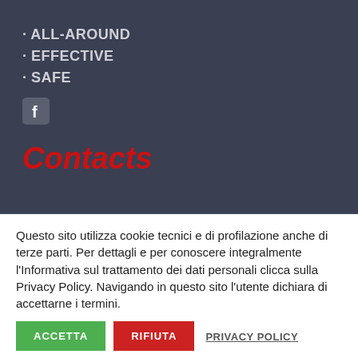· ALL-AROUND
· EFFECTIVE
· SAFE
[Figure (logo): Facebook icon button, white F on dark rounded square background]
Contacts
Questo sito utilizza cookie tecnici e di profilazione anche di terze parti. Per dettagli e per conoscere integralmente l'Informativa sul trattamento dei dati personali clicca sulla Privacy Policy. Navigando in questo sito l'utente dichiara di accettarne i termini.
ACCETTA
RIFIUTA
PRIVACY POLICY